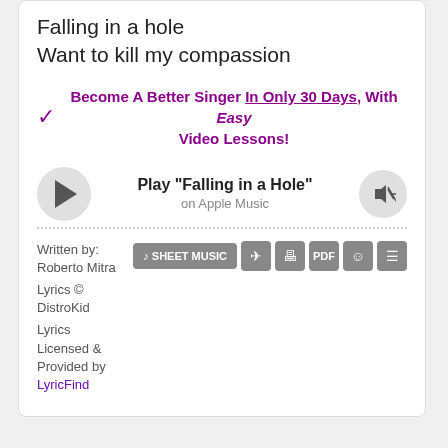Falling in a hole
Want to kill my compassion
✓ Become A Better Singer In Only 30 Days, With Easy Video Lessons!
[Figure (other): Music player UI showing Play 'Falling in a Hole' on Apple Music with play button and volume button]
Written by: Roberto Mitra
Lyrics © DistroKid
Lyrics Licensed & Provided by LyricFind